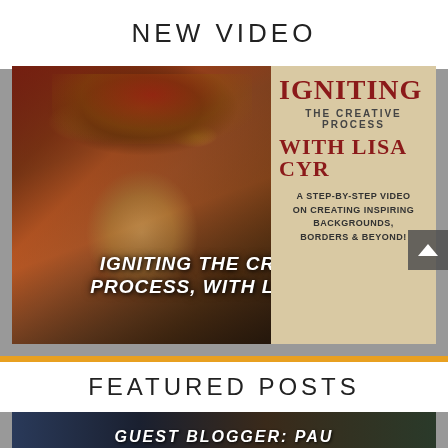NEW VIDEO
[Figure (photo): Banner image for 'Igniting the Creative Process, with Lisa Cyr' video. Left half shows a fantasy portrait of a woman with ornate headdress and face paint in warm reds, golds, and browns. Right half shows a vintage-style book cover reading 'IGNITING THE CREATIVE PROCESS WITH LISA CYR — A STEP-BY-STEP VIDEO ON CREATING INSPIRING BACKGROUNDS, BORDERS & BEYOND!' Text overlay on the left reads 'IGNITING THE CREATIVE PROCESS, WITH LISA CYR' in white bold italic capitals.]
FEATURED POSTS
[Figure (photo): Partial view of a fantasy illustration with dark blues and greens, creatures or monsters visible. Text overlay at the bottom reads 'GUEST BLOGGER: PAU' (cropped).]